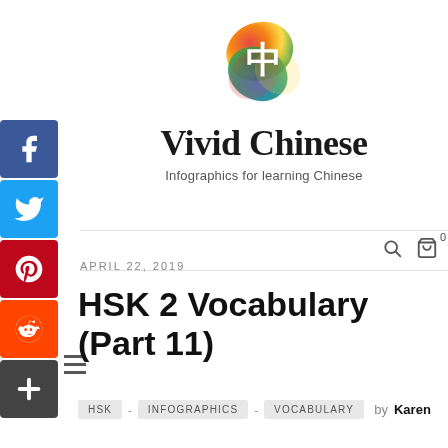[Figure (logo): Vivid Chinese colorful swirl logo with white Chinese character 中 in center]
Vivid Chinese
Infographics for learning Chinese
APRIL 22, 2019
HSK 2 Vocabulary (Part 11)
HSK - INFOGRAPHICS - VOCABULARY by Karen